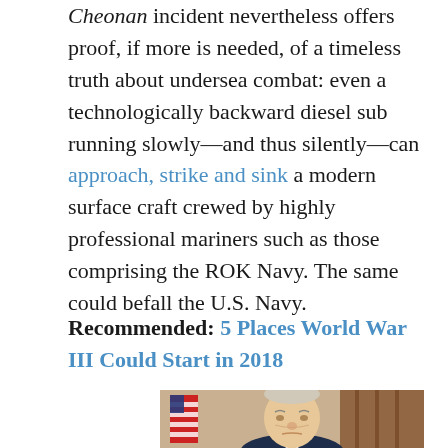Cheonan incident nevertheless offers proof, if more is needed, of a timeless truth about undersea combat: even a technologically backward diesel sub running slowly—and thus silently—can approach, strike and sink a modern surface craft crewed by highly professional mariners such as those comprising the ROK Navy. The same could befall the U.S. Navy.
Recommended: 5 Places World War III Could Start in 2018
[Figure (photo): Photograph of an elderly man with white hair wearing a dark suit, partially visible from the shoulders up, with an American flag visible to the left and a wooden background to the right.]